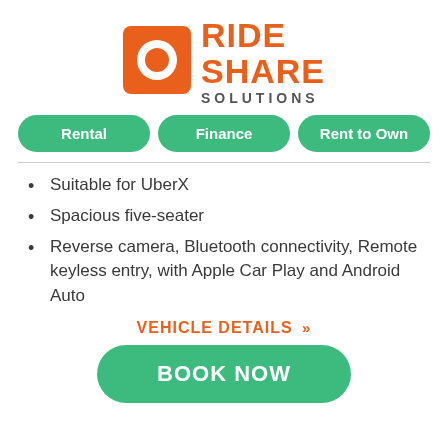[Figure (logo): RideShare Solutions logo: orange square with white circle icon on left, orange bold text RIDE SHARE on right with gray SOLUTIONS below]
Rental
Finance
Rent to Own
Suitable for UberX
Spacious five-seater
Reverse camera, Bluetooth connectivity, Remote keyless entry, with Apple Car Play and Android Auto
VEHICLE DETAILS »
BOOK NOW